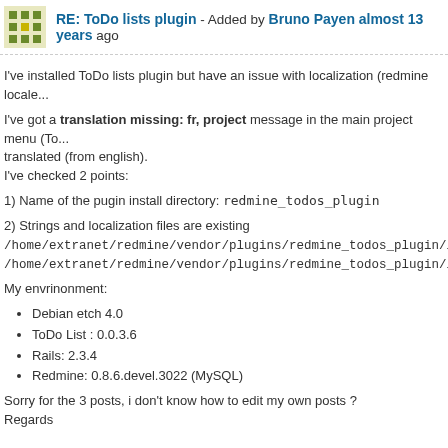RE: ToDo lists plugin - Added by Bruno Payen almost 13 years ago
I've installed ToDo lists plugin but have an issue with localization (redmine locale...
I've got a translation missing: fr, project message in the main project menu (To... translated (from english).
I've checked 2 points:
1) Name of the pugin install directory: redmine_todos_plugin
2) Strings and localization files are existing /home/extranet/redmine/vendor/plugins/redmine_todos_plugin/lang/en.yml /home/extranet/redmine/vendor/plugins/redmine_todos_plugin/lang/fr.yml
My envrinonment:
Debian etch 4.0
ToDo List : 0.0.3.6
Rails: 2.3.4
Redmine: 0.8.6.devel.3022 (MySQL)
Sorry for the 3 posts, i don't know how to edit my own posts ?
Regards
RE: ToDo lists plugin - Added by Mischa The Evil almost 13 years ago
Bruno Payen wrote:
I've installed ToDo lists plugin but have an issue with localization (redmine...
...
My envrinonment: